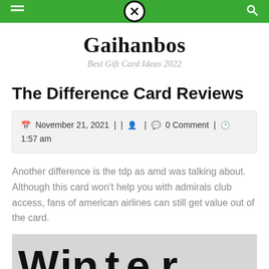Gaihanbos navigation bar
Gaihanbos
Best Gift Card Ideas 2022
The Difference Card Reviews
November 21, 2021 | | | 0 Comment | 1:57 am
Another difference is the tdp as amd was talking about. Although this card won't help you with admirals club access, fans of american airlines can still get value out of the card.
[Figure (photo): Image showing the word 'winter' in bold handwritten-style text on a light gray background, with a circled X icon overlaid on the letter 't'.]